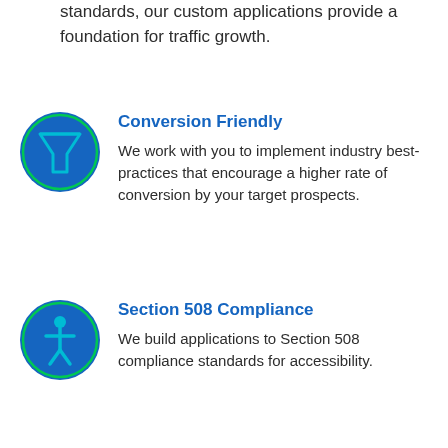standards, our custom applications provide a foundation for traffic growth.
[Figure (illustration): Blue circle icon with a green funnel/filter symbol]
Conversion Friendly
We work with you to implement industry best-practices that encourage a higher rate of conversion by your target prospects.
[Figure (illustration): Blue circle icon with a green person/accessibility figure symbol]
Section 508 Compliance
We build applications to Section 508 compliance standards for accessibility.